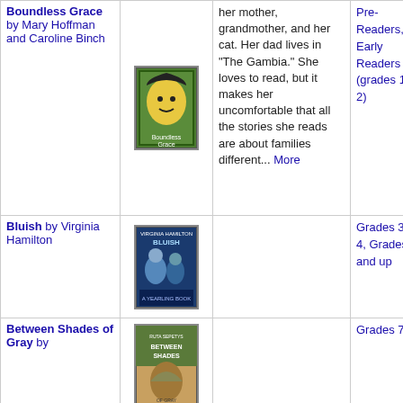| Title/Author | Cover | Description | Grade Level | Theme |
| --- | --- | --- | --- | --- |
| Boundless Grace by Mary Hoffman and Caroline Binch | [book cover] | her mother, grandmother, and her cat. Her dad lives in "The Gambia." She loves to read, but it makes her uncomfortable that all the stories she reads are about families different... More | Pre-Readers, Early Readers (grades 1-2) | Respecting Differences |
| Bluish by Virginia Hamilton | [book cover] |  | Grades 3-4, Grades 5 and up |  |
| Between Shades of Gray by | [book cover] |  | Grades 7 |  |